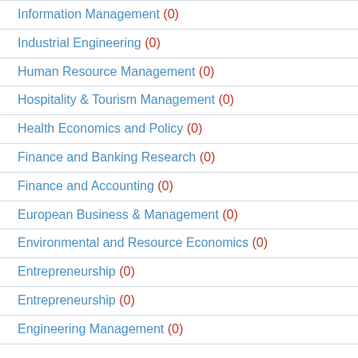Information Management (0)
Industrial Engineering (0)
Human Resource Management (0)
Hospitality & Tourism Management (0)
Health Economics and Policy (0)
Finance and Banking Research (0)
Finance and Accounting (0)
European Business & Management (0)
Environmental and Resource Economics (0)
Entrepreneurship (0)
Entrepreneurship (0)
Engineering Management (0)